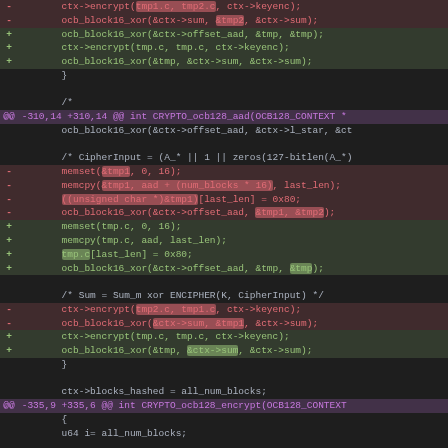[Figure (screenshot): A unified diff / code patch view showing modifications to OCB128 AAD and encrypt functions in a dark-themed code editor. Removed lines (red, prefixed with -) and added lines (green, prefixed with +) show refactoring of tmp1/tmp2 buffer variables to tmp struct. Diff hunk headers shown in purple.]